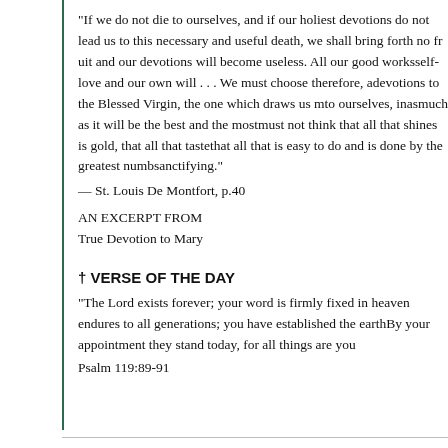"If we do not die to ourselves, and if our holiest devotions do not lead us to this necessary and useful death, we shall bring forth no fruit worth having, and our devotions will become useless. All our good works will be tainted by self-love and our own will . . . We must choose therefore, among all our devotions to the Blessed Virgin, the one which draws us most toward dying to ourselves, inasmuch as it will be the best and the most sanctifying. We must not think that all that shines is gold, that all that tastes sweet is honey, that all that is easy to do and is done by the greatest number is the most sanctifying."
— St. Louis De Montfort, p.40
AN EXCERPT FROM
True Devotion to Mary
† VERSE OF THE DAY
"The Lord exists forever; your word is firmly fixed in heaven. Your faithfulness endures to all generations; you have established the earth, and it stands fast. By your appointment they stand today, for all things are your servants."
Psalm 119:89-91